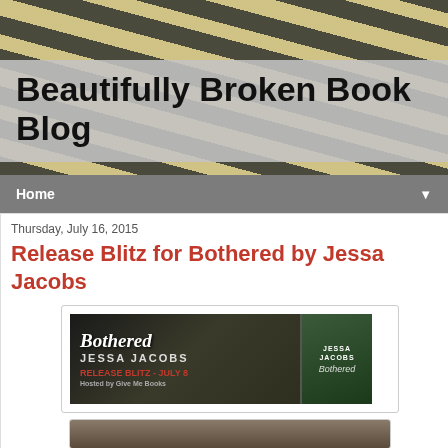[Figure (photo): Zebra print texture background header image]
Beautifully Broken Book Blog
Home
Thursday, July 16, 2015
Release Blitz for Bothered by Jessa Jacobs
[Figure (photo): Book banner for 'Bothered' by Jessa Jacobs showing shirtless male figure with text 'Bothered Jessa Jacobs Release Blitz - July 8 Hosted by Give Me Books' and small book cover on the right]
[Figure (photo): Partial second image, bottom of page, partially cropped]